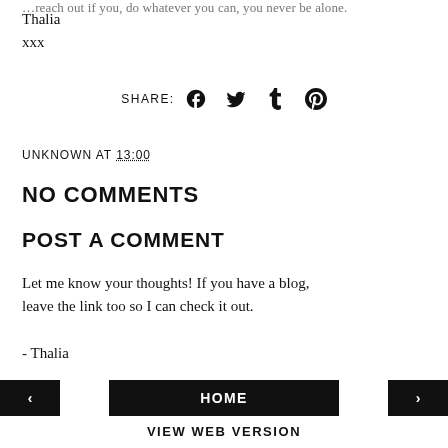…reach out if you, do whatever you can, you never be alone.
Thalia
xxx
SHARE:
UNKNOWN AT 13:00
NO COMMENTS
POST A COMMENT
Let me know your thoughts! If you have a blog, leave the link too so I can check it out.

- Thalia
‹  HOME  ›  VIEW WEB VERSION